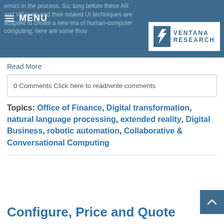errors in the process. So, long before these AR and VR tools and their related UI techniques are adapted to create a new era of human-computer computing, here are some thou…
MENU
[Figure (logo): Ventana Research logo: white V-shaped icon with a blue square background, beside text 'VENTANA RESEARCH' in blue capital letters]
Read More
0 Comments Click here to read/write comments
Topics: Office of Finance, Digital transformation, natural language processing, extended reality, Digital Business, robotic automation, Collaborative & Conversational Computing
Configure, Price and Quote